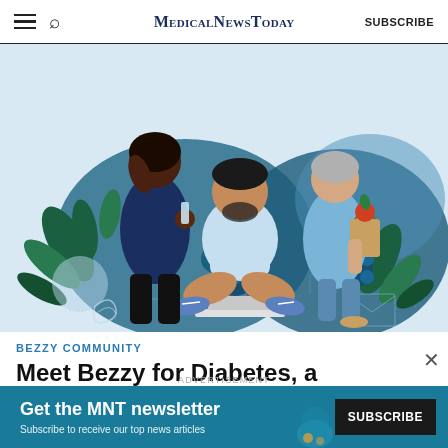MedicalNewsToday  SUBSCRIBE
[Figure (illustration): Illustration of three diverse people against a blue abstract background with flowers and leaves. A Black woman stands on the left holding a drink, an older white woman with gray hair stands on the right holding a grocery bag with an apple, and a bearded man with light skin sits in the center on the ground with a laptop nearby.]
BEZZY COMMUNITY
Meet Bezzy for Diabetes, a community
[Figure (infographic): Advertisement banner: 'Get the MNT newsletter - Subscribe to receive our top news articles' with a SUBSCRIBE button on the right, teal/dark background.]